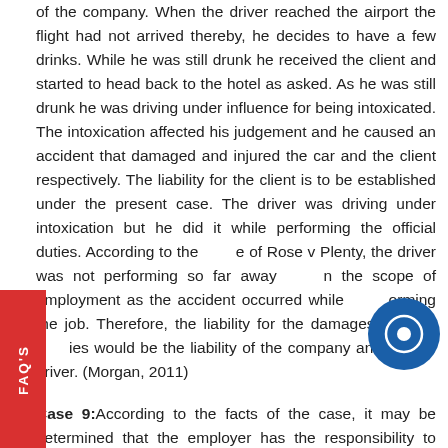of the company. When the driver reached the airport the flight had not arrived thereby, he decides to have a few drinks. While he was still drunk he received the client and started to head back to the hotel as asked. As he was still drunk he was driving under influence for being intoxicated. The intoxication affected his judgement and he caused an accident that damaged and injured the car and the client respectively. The liability for the client is to be established under the present case. The driver was driving under intoxication but he did it while performing the official duties. According to the e of Rose v Plenty, the driver was not performing so far away the scope of employment as the accident occurred while orming the job. Therefore, the liability for the damages and the ies would be the liability of the company and not the driver. (Morgan, 2011)
Case 9: According to the facts of the case, it may be determined that the employer has the responsibility to ensure that health and safety standards are maintained at the premises. He to ensure the same the supermarket had outsourced the duties to another company. One day when an employee was loading to